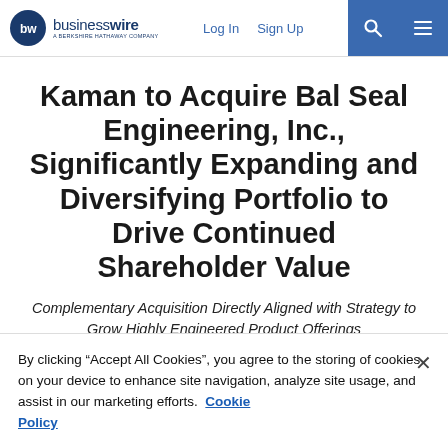businesswire — A Berkshire Hathaway Company | Log In | Sign Up
Kaman to Acquire Bal Seal Engineering, Inc., Significantly Expanding and Diversifying Portfolio to Drive Continued Shareholder Value
Complementary Acquisition Directly Aligned with Strategy to Grow Highly Engineered Product Offerings
Diversifies Reach into High-Growth and High-Margin
By clicking “Accept All Cookies”, you agree to the storing of cookies on your device to enhance site navigation, analyze site usage, and assist in our marketing efforts.  Cookie Policy